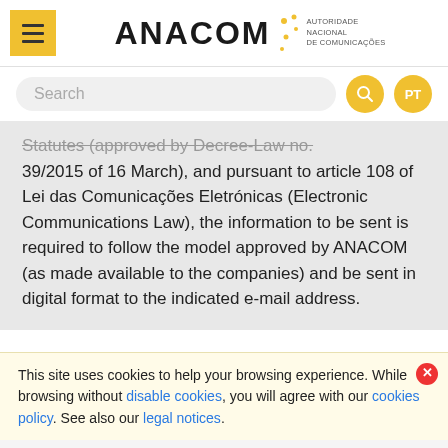[Figure (logo): ANACOM - Autoridade Nacional de Comunicações logo with yellow menu button and dot pattern]
[Figure (screenshot): Search bar with yellow search button and PT language toggle button]
Statutes (approved by Decree-Law no. 39/2015 of 16 March), and pursuant to article 108 of Lei das Comunicações Eletrónicas (Electronic Communications Law), the information to be sent is required to follow the model approved by ANACOM (as made available to the companies) and be sent in digital format to the indicated e-mail address.
This site uses cookies to help your browsing experience. While browsing without disable cookies, you will agree with our cookies policy. See also our legal notices.